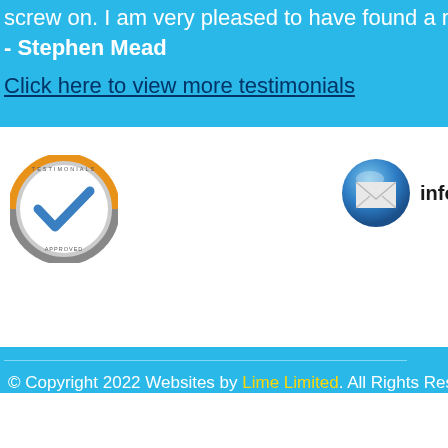screw on. I am very pleased to have found a reliable plumbe...
- Stephen Mead
Click here to view more testimonials
[Figure (logo): Circular badge/seal with orange and grey border, checkmark in center, certification text around the ring]
[Figure (logo): Blue glossy circular email icon with envelope graphic]
info@plum...
© Copyright 2022 Websites by Lime Limited. All Rights Rese...